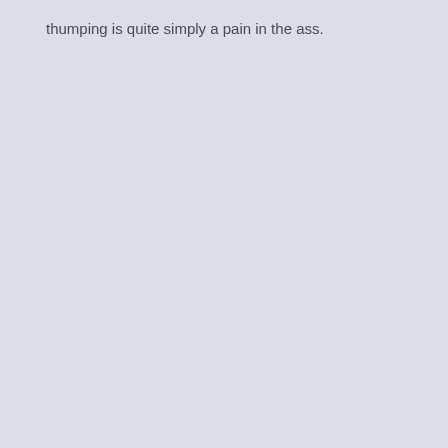thumping is quite simply a pain in the ass.